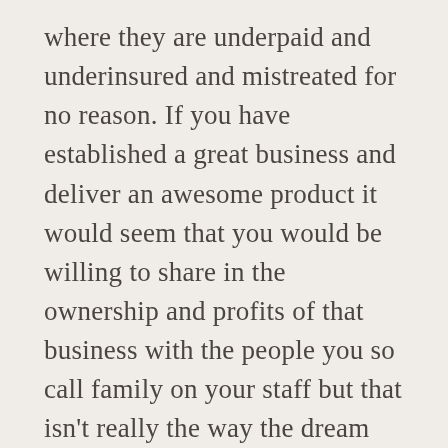where they are underpaid and underinsured and mistreated for no reason. If you have established a great business and deliver an awesome product it would seem that you would be willing to share in the ownership and profits of that business with the people you so call family on your staff but that isn't really the way the dream works is it? The dream is to NOT WORK. The dream is to make enough money somehow, in order to be able to read all day, travel, paint, get tan, live in an enviable neighborhood with few economic stressors, create generational wealth and act like the family from Downton Abbey and pretend you don't understand the difference between a weekend and a weekday. But the folks who are getting mad that others don't want to come